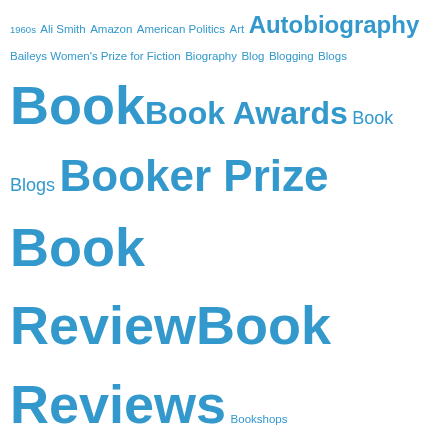[Figure (infographic): Tag cloud of book-related topics in blue, with font size proportional to frequency/weight. Tags include: 1960s, Ali Smith, Amazon, American Politics, Art, Autobiography, Baileys Women's Prize for Fiction, Biography, Blog, Blogging, Blogs, Book, Book Awards, Book Blogs, Booker Prize, Book Review, Book Reviews, Bookshops, Classic Literature, Crime, Crime Fiction, Debut Fiction, Dystopia, Ebook, Elena Ferrante, Events, Fiction, Film, Films, Food, France, French Literature, Haruki Murakami, Health, Hilary Mantel, Historical, History, Horror, Ian McEwan, IFFP, Independent Foreign Fiction Prize, India, Ireland, Italy, J. K. Rowling, Japan, Japanese Literature, Jhumpa Lahiri, Julian Barnes, Kate Atkinson, Kindle, Libraries, Library, Literary Awards, Literary Fiction, Literature, London, Man Booker International Prize, Man Booker International Prize 2016, Man]